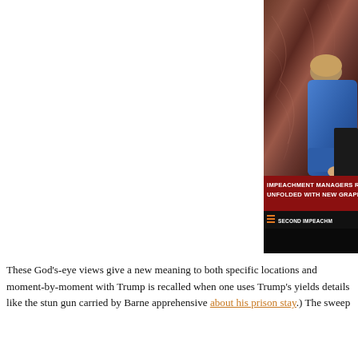[Figure (screenshot): TV news screenshot showing a person in a blue suit standing at what appears to be a Senate hearing podium with marble background. Lower third chyron reads 'IMPEACHMENT MANAGERS REC... UNFOLDED WITH NEW GRAPHIC...' in white on red background. Secondary bar reads '= SECOND IMPEACHM...' in white on dark background.]
These God's-eye views give a new meaning to both specific locations and moment-by-moment with Trump is recalled when one uses Trump's yields details like the stun gun carried by Barne apprehensive about his prison stay.) The sweep...